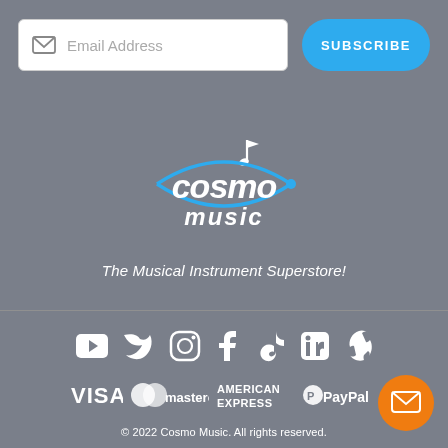[Figure (screenshot): Email subscription form with white input box showing envelope icon and 'Email Address' placeholder, and a blue rounded 'SUBSCRIBE' button]
[Figure (logo): Cosmo Music logo - white italic text 'cosmo music' with blue elliptical orbit graphic and musical note]
The Musical Instrument Superstore!
[Figure (infographic): Social media icons row: YouTube, Twitter, Instagram, Facebook, TikTok, LinkedIn, Yelp - all white]
[Figure (infographic): Payment method logos: VISA, Mastercard, American Express, PayPal - all in white/monochrome]
© 2022 Cosmo Music. All rights reserved.